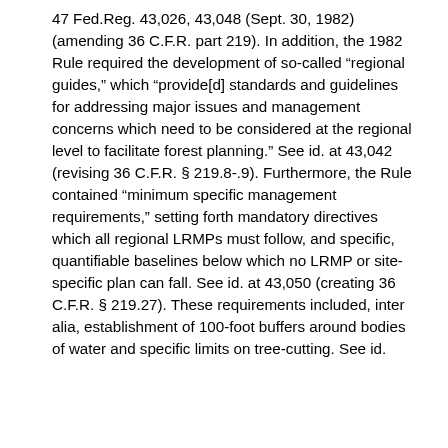47 Fed.Reg. 43,026, 43,048 (Sept. 30, 1982) (amending 36 C.F.R. part 219). In addition, the 1982 Rule required the development of so-called “regional guides,” which “provide[d] standards and guidelines for addressing major issues and management concerns which need to be considered at the regional level to facilitate forest planning.” See id. at 43,042 (revising 36 C.F.R. § 219.8-.9). Furthermore, the Rule contained “minimum specific management requirements,” setting forth mandatory directives which all regional LRMPs must follow, and specific, quantifiable baselines below which no LRMP or site-specific plan can fall. See id. at 43,050 (creating 36 C.F.R. § 219.27). These requirements included, inter alia, establishment of 100-foot buffers around bodies of water and specific limits on tree-cutting. See id.